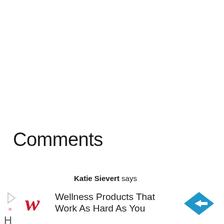Comments
Katie Sievert says
April 7, 2020 at 12:43 pm
[Figure (other): Advertisement banner for Walgreens: 'Wellness Products That Work As Hard As You']